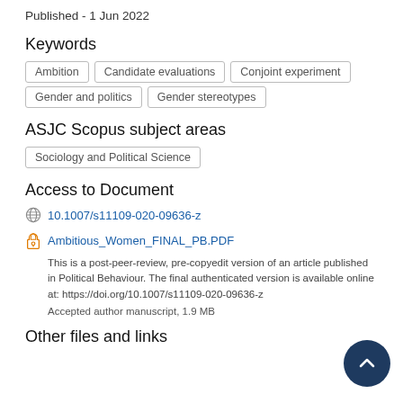Published - 1 Jun 2022
Keywords
Ambition
Candidate evaluations
Conjoint experiment
Gender and politics
Gender stereotypes
ASJC Scopus subject areas
Sociology and Political Science
Access to Document
10.1007/s11109-020-09636-z
Ambitious_Women_FINAL_PB.PDF
This is a post-peer-review, pre-copyedit version of an article published in Political Behaviour. The final authenticated version is available online at: https://doi.org/10.1007/s11109-020-09636-z
Accepted author manuscript, 1.9 MB
Other files and links